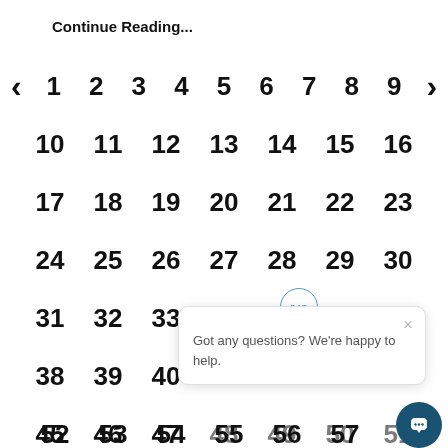Continue Reading...
[Figure (screenshot): Pagination navigation with numbers 1-57 and left/right arrows, plus a chat popup widget]
Got any questions? We're happy to help.